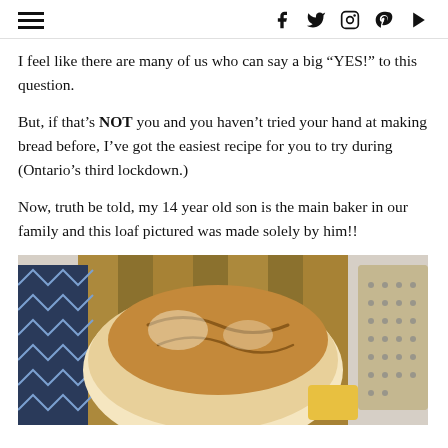Navigation and social icons (hamburger menu, Facebook, Twitter, Instagram, Pinterest, YouTube)
I feel like there are many of us who can say a big “YES!” to this question.
But, if that’s NOT you and you haven’t tried your hand at making bread before, I’ve got the easiest recipe for you to try during (Ontario’s third lockdown.)
Now, truth be told, my 14 year old son is the main baker in our family and this loaf pictured was made solely by him!!
[Figure (photo): Photo of a homemade bread loaf on a wooden cutting board with a grater visible on the right side and a blue patterned cloth on the left]